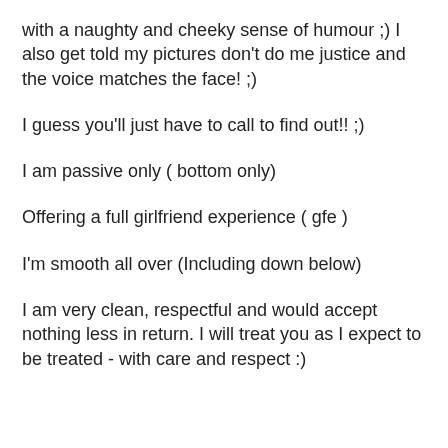with a naughty and cheeky sense of humour ;) I also get told my pictures don't do me justice and the voice matches the face! ;)
I guess you'll just have to call to find out!! ;)
I am passive only ( bottom only)
Offering a full girlfriend experience ( gfe )
I'm smooth all over (Including down below)
I am very clean, respectful and would accept nothing less in return. I will treat you as I expect to be treated - with care and respect :)